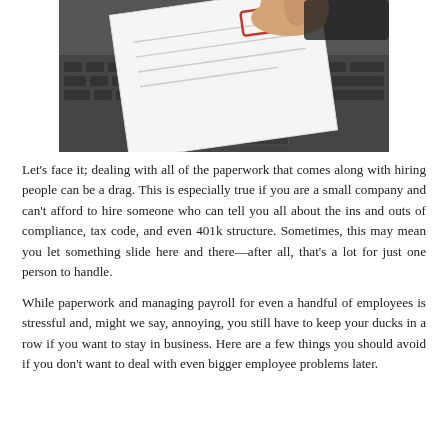[Figure (photo): A person's hand holding a document stamped with 'Valid' over a laptop keyboard, with papers and a clipboard on the desk.]
Let's face it; dealing with all of the paperwork that comes along with hiring people can be a drag. This is especially true if you are a small company and can't afford to hire someone who can tell you all about the ins and outs of compliance, tax code, and even 401k structure. Sometimes, this may mean you let something slide here and there—after all, that's a lot for just one person to handle.
While paperwork and managing payroll for even a handful of employees is stressful and, might we say, annoying, you still have to keep your ducks in a row if you want to stay in business. Here are a few things you should avoid if you don't want to deal with even bigger employee problems later.